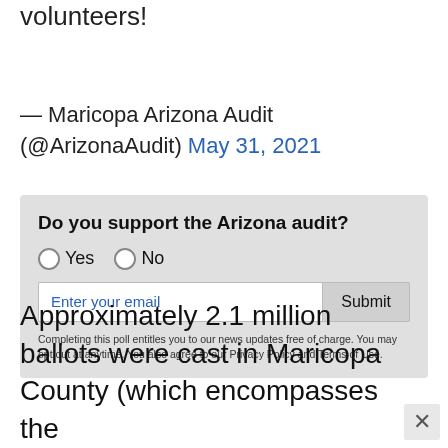volunteers!
— Maricopa Arizona Audit (@ArizonaAudit) May 31, 2021
[Figure (infographic): Poll widget with question 'Do you support the Arizona audit?' with Yes/No radio buttons, email input field, Submit button, and disclaimer text about poll entitling news updates, privacy policy and terms of use.]
Approximately 2.1 million ballots were cast in Maricopa County (which encompasses the